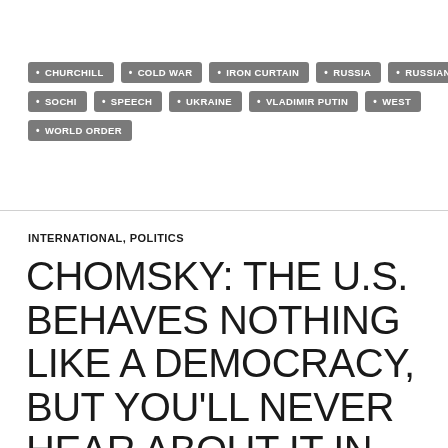• CHURCHILL • COLD WAR • IRON CURTAIN • RUSSIA • RUSSIAN • SOCHI • SPEECH • UKRAINE • VLADIMIR PUTIN • WEST • WORLD ORDER
INTERNATIONAL, POLITICS
CHOMSKY: THE U.S. BEHAVES NOTHING LIKE A DEMOCRACY, BUT YOU'LL NEVER HEAR ABOUT IT IN OUR 'FREE PRESS'